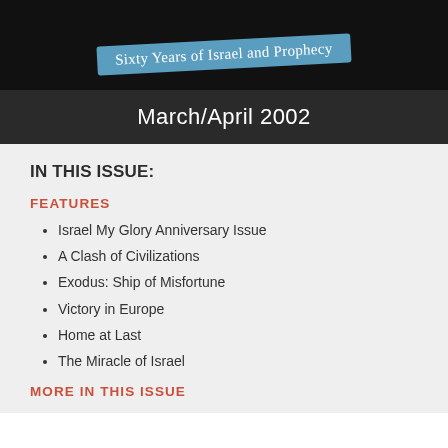[Figure (photo): Dark banner with ribbon text reading 'Sixty Years of Israel and Prophecy']
March/April 2002
IN THIS ISSUE:
FEATURES
Israel My Glory Anniversary Issue
A Clash of Civilizations
Exodus: Ship of Misfortune
Victory in Europe
Home at Last
The Miracle of Israel
MORE IN THIS ISSUE